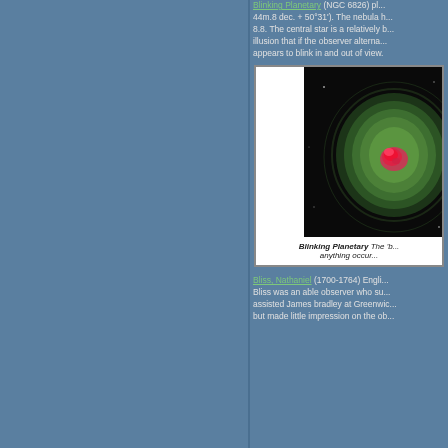Blinking Planetary (NGC 6826) pl... 44m.8 dec. + 50°31'). The nebula h... 8.8. The central star is a relatively b... illusion that if the observer alterna... appears to blink in and out of view.
[Figure (photo): Telescope image of the Blinking Planetary nebula (NGC 6826) showing a green glowing nebula with bright pink/red central region against a black background.]
Blinking Planetary The 'b... anything occur...
Bliss, Nathaniel (1700-1764) Engli... Bliss was an able observer who su... assisted James bradley at Greenwic... but made little impression on the ob...